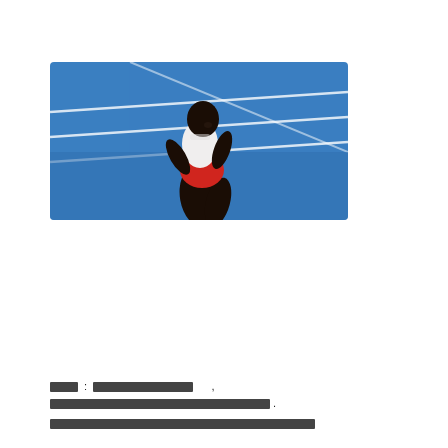[Figure (photo): A male sprinter wearing a white vest and red shorts crouching on a blue athletics track, looking upward and to the side.]
[REDACTED] : [REDACTED] , [REDACTED] .
[REDACTED]